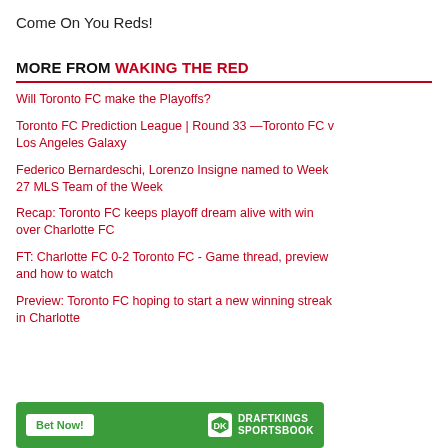Come On You Reds!
MORE FROM WAKING THE RED
Will Toronto FC make the Playoffs?
Toronto FC Prediction League | Round 33 —Toronto FC v Los Angeles Galaxy
Federico Bernardeschi, Lorenzo Insigne named to Week 27 MLS Team of the Week
Recap: Toronto FC keeps playoff dream alive with win over Charlotte FC
FT: Charlotte FC 0-2 Toronto FC - Game thread, preview and how to watch
Preview: Toronto FC hoping to start a new winning streak in Charlotte
[Figure (other): DraftKings advertisement banner with green background, Bet Now! button, and DraftKings Sportsbook logo]